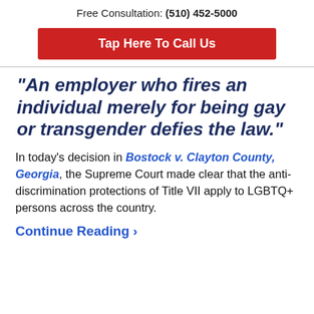Free Consultation: (510) 452-5000
[Figure (other): Red call-to-action button reading 'Tap Here To Call Us']
“An employer who fires an individual merely for being gay or transgender defies the law.”
In today’s decision in Bostock v. Clayton County, Georgia, the Supreme Court made clear that the anti-discrimination protections of Title VII apply to LGBTQ+ persons across the country.
Continue Reading ›